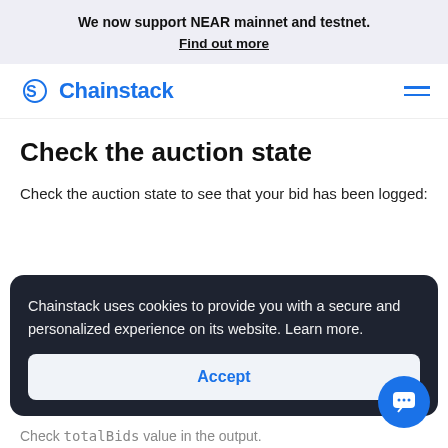We now support NEAR mainnet and testnet. Find out more
[Figure (logo): Chainstack logo with stylized S icon in blue and text 'Chainstack' in blue]
Check the auction state
Check the auction state to see that your bid has been logged:
Chainstack uses cookies to provide you with a secure and personalized experience on its website. Learn more.
Accept
Check totalBids value in the output.